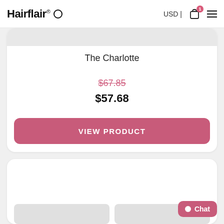Hairflair® USD | [cart] [menu]
The Charlotte
$67.85
$57.68
VIEW PRODUCT
Chat